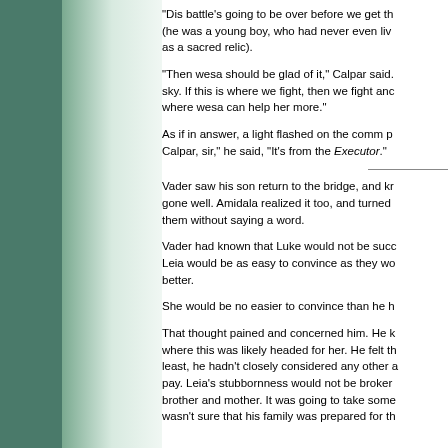"Dis battle's going to be over before we get th (he was a young boy, who had never even liv as a sacred relic).

"Then wesa should be glad of it," Calpar said. sky. If this is where we fight, then we fight anc where wesa can help her more."

As if in answer, a light flashed on the comm p Calpar, sir," he said, "It's from the Executor."

Vader saw his son return to the bridge, and kr gone well. Amidala realized it too, and turned them without saying a word.

Vader had known that Luke would not be succ Leia would be as easy to convince as they wo better.

She would be no easier to convince than he h

That thought pained and concerned him. He k where this was likely headed for her. He felt th least, he hadn't closely considered any other a pay. Leia's stubbornness would not be broker brother and mother. It was going to take some wasn't sure that his family was prepared for th